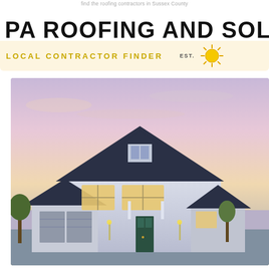find the roofing contractors in Sussex County
PA ROOFING AND SOLA
LOCAL CONTRACTOR FINDER   EST.
[Figure (photo): Suburban house with dark gray/blue roof at dusk, illuminated windows, two-car garage, wet driveway reflecting lights, green trees, pink and purple sky]